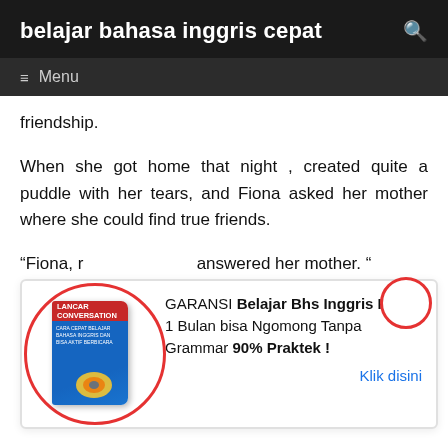belajar bahasa inggris cepat
Menu
friendship.
When she got home that night , created quite a puddle with her tears, and Fiona asked her mother where she could find true friends.
“Fiona, r answered her mother. “ cannot words. If have to giv true friend good times
[Figure (infographic): Advertisement overlay showing a book titled LANCAR CONVERSATION with red circle highlight, and text: GARANSI Belajar Bhs Inggris Kilat 1 Bulan bisa Ngomong Tanpa Grammar 90% Praktek! with a Klik disini link.]